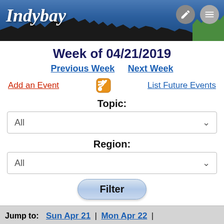[Figure (screenshot): Indybay website header banner with logo, silhouette crowd graphic, green field, pencil icon and menu icon]
Week of 04/21/2019
Previous Week   Next Week
Add an Event  [RSS icon]  List Future Events
Topic:
All (dropdown)
Region:
All (dropdown)
Filter (button)
Jump to: Sun Apr 21 | Mon Apr 22 |